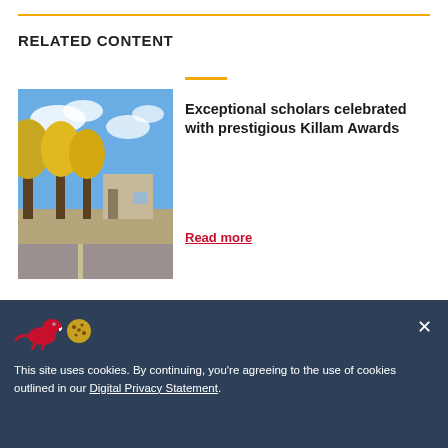RELATED CONTENT
[Figure (photo): Campus outdoor photo with trees and blue sky]
Exceptional scholars celebrated with prestigious Killam Awards
Read more
[Figure (photo): Portrait of a person with short dark hair outdoors]
Killam Laureate on a mission to improve health of preterm babies (and she's
This site uses cookies. By continuing, you're agreeing to the use of cookies outlined in our Digital Privacy Statement.